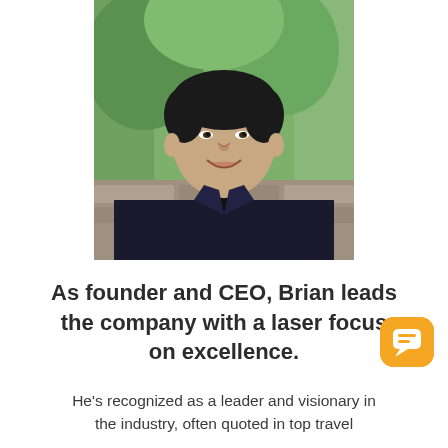[Figure (photo): Headshot of a man (Brian) smiling, wearing a dark blazer and black shirt, seated outdoors with green foliage in background.]
As founder and CEO, Brian leads the company with a laser focus on excellence.
He's recognized as a leader and visionary in the industry, often quoted in top travel